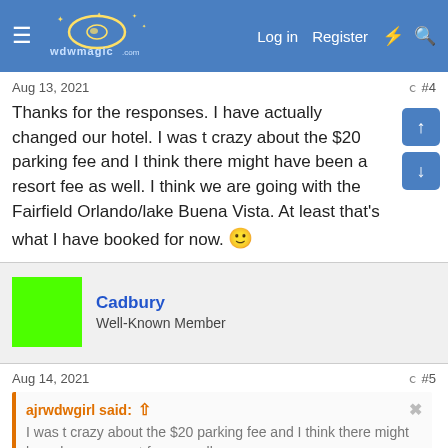WDWMagic.com — Log in | Register
Aug 13, 2021  #4
Thanks for the responses. I have actually changed our hotel. I was t crazy about the $20 parking fee and I think there might have been a resort fee as well. I think we are going with the Fairfield Orlando/lake Buena Vista. At least that's what I have booked for now. 🙂
↩ Reply
Cadbury
Well-Known Member
Aug 14, 2021  #5
ajrwdwgirl said: ⬆
I was t crazy about the $20 parking fee and I think there might have been a resort fee as well.